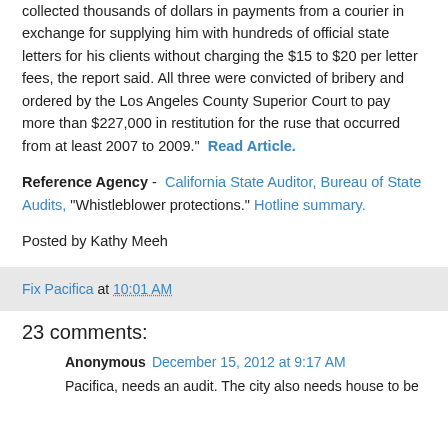collected thousands of dollars in payments from a courier in exchange for supplying him with hundreds of official state letters for his clients without charging the $15 to $20 per letter fees, the report said. All three were convicted of bribery and ordered by the Los Angeles County Superior Court to pay more than $227,000 in restitution for the ruse that occurred from at least 2007 to 2009." Read Article.
Reference Agency - California State Auditor, Bureau of State Audits, "Whistleblower protections." Hotline summary.
Posted by Kathy Meeh
Fix Pacifica at 10:01 AM
23 comments:
Anonymous December 15, 2012 at 9:17 AM
Pacifica, needs an audit. The city also needs house to be